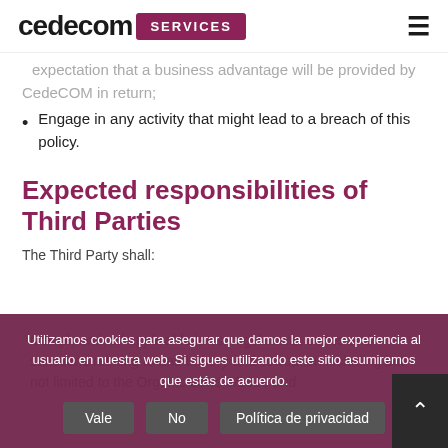cedecom SERVICES
expectation that a business advantage will be provided by CedeCOM in return;
Engage in any activity that might lead to a breach of this policy.
Expected responsibilities of Third Parties
The Third Party shall:
Comply with all applicable laws, regulations, codes and sanctions relating to anti-bribery and corruption including but not limited to the Organic Laws 5/2010 and
Utilizamos cookies para asegurar que damos la mejor experiencia al usuario en nuestra web. Si sigues utilizando este sitio asumiremos que estás de acuerdo.